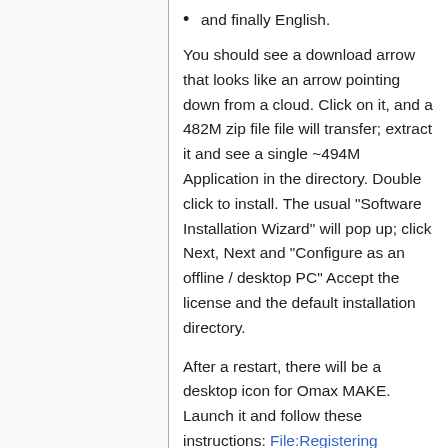and finally English.
You should see a download arrow that looks like an arrow pointing down from a cloud. Click on it, and a 482M zip file file will transfer; extract it and see a single ~494M Application in the directory. Double click to install. The usual "Software Installation Wizard" will pop up; click Next, Next and "Configure as an offline / desktop PC" Accept the license and the default installation directory.
After a restart, there will be a desktop icon for Omax MAKE. Launch it and follow these instructions: File:Registering IntelliMAX Software Online-1.pdf They are a bit out of date; registration is done completely online rather than with the phone call referenced in the handout.